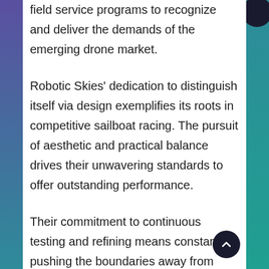field service programs to recognize and deliver the demands of the emerging drone market.
Robotic Skies' dedication to distinguish itself via design exemplifies its roots in competitive sailboat racing. The pursuit of aesthetic and practical balance drives their unwavering standards to offer outstanding performance.
Their commitment to continuous testing and refining means constantly pushing the boundaries away from what is